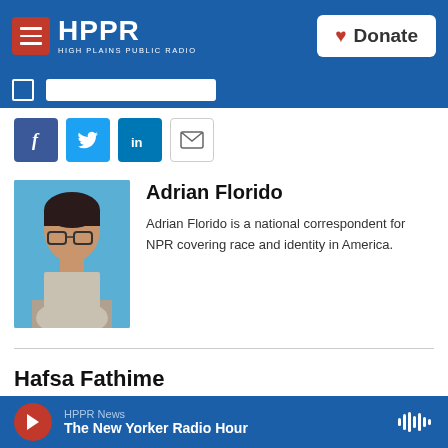HPPR HIGH PLAINS PUBLIC RADIO | Donate
[Figure (screenshot): Social sharing icons: Facebook, Twitter, LinkedIn, Email]
[Figure (photo): Headshot photo of Adrian Florido against blue background]
Adrian Florido
Adrian Florido is a national correspondent for NPR covering race and identity in America.
Hafsa Fathime
HPPR News – The New Yorker Radio Hour